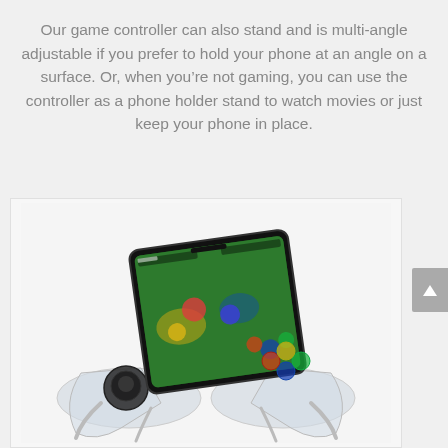Our game controller can also stand and is multi-angle adjustable if you prefer to hold your phone at an angle on a surface. Or, when you’re not gaming, you can use the controller as a phone holder stand to watch movies or just keep your phone in place.
[Figure (photo): A transparent/clear plastic mobile game controller stand holding a smartphone displaying a mobile game (Mobile Legends). The controller is propped up at an angle on a surface, with the phone screen showing game characters in a fantasy battlefield.]